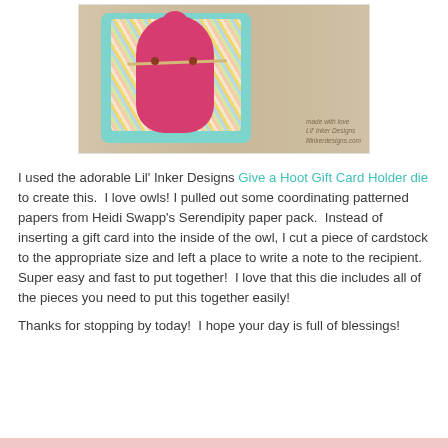[Figure (photo): Craft project photo showing an owl-shaped gift card holder made with teal/mint cardstock and chevron patterned paper in pastel colors (pink, yellow, green, blue), with a watermark reading 'Lil' Inker Designs' in the lower right corner. The owl is set against a wood grain background.]
I used the adorable Lil' Inker Designs Give a Hoot Gift Card Holder die to create this.  I love owls! I pulled out some coordinating patterned papers from Heidi Swapp's Serendipity paper pack.  Instead of inserting a gift card into the inside of the owl, I cut a piece of cardstock to the appropriate size and left a place to write a note to the recipient.   Super easy and fast to put together!  I love that this die includes all of the pieces you need to put this together easily!
Thanks for stopping by today!  I hope your day is full of blessings!